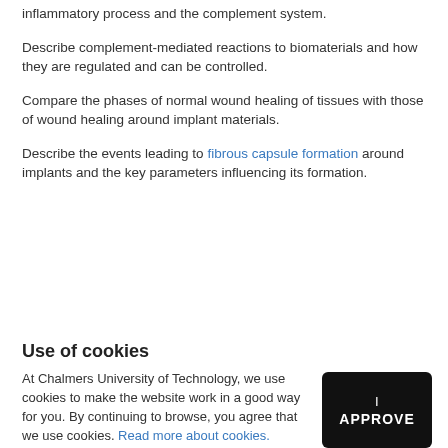inflammatory process and the complement system.
Describe complement-mediated reactions to biomaterials and how they are regulated and can be controlled.
Compare the phases of normal wound healing of tissues with those of wound healing around implant materials.
Describe the events leading to fibrous capsule formation around implants and the key parameters influencing its formation.
Use of cookies
At Chalmers University of Technology, we use cookies to make the website work in a good way for you. By continuing to browse, you agree that we use cookies. Read more about cookies.